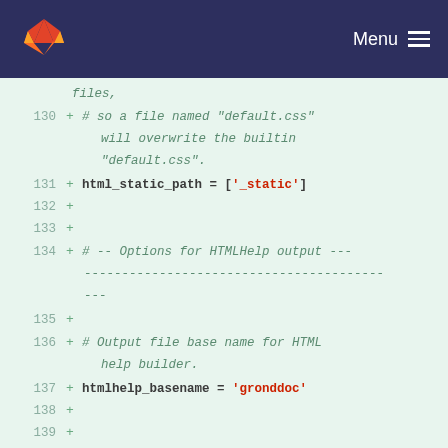Menu
files,
130 + # so a file named "default.css" will overwrite the builtin "default.css".
131 + html_static_path = ['_static']
132 +
133 +
134 + # -- Options for HTMLHelp output -------------------------------------------
135 +
136 + # Output file base name for HTML help builder.
137 + htmlhelp_basename = 'gronddoc'
138 +
139 +
140 + # -- Options for LaTeX output ----------------------------------------------
141 +